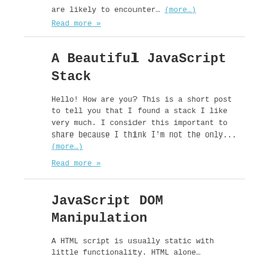are likely to encounter… (more…)
Read more »
A Beautiful JavaScript Stack
Hello! How are you? This is a short post to tell you that I found a stack I like very much. I consider this important to share because I think I'm not the only... (more…)
Read more »
JavaScript DOM Manipulation
A HTML script is usually static with little functionality. HTML alone…